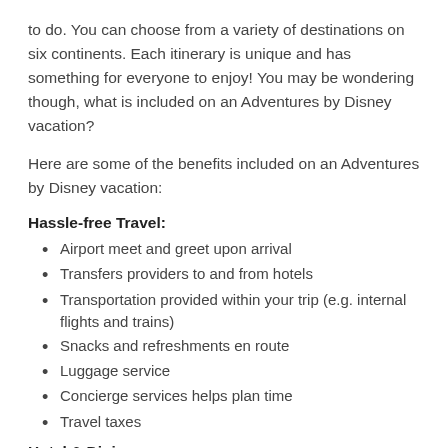to do. You can choose from a variety of destinations on six continents. Each itinerary is unique and has something for everyone to enjoy! You may be wondering though, what is included on an Adventures by Disney vacation?
Here are some of the benefits included on an Adventures by Disney vacation:
Hassle-free Travel:
Airport meet and greet upon arrival
Transfers providers to and from hotels
Transportation provided within your trip (e.g. internal flights and trains)
Snacks and refreshments en route
Luggage service
Concierge services helps plan time
Travel taxes
Hotel & Dining